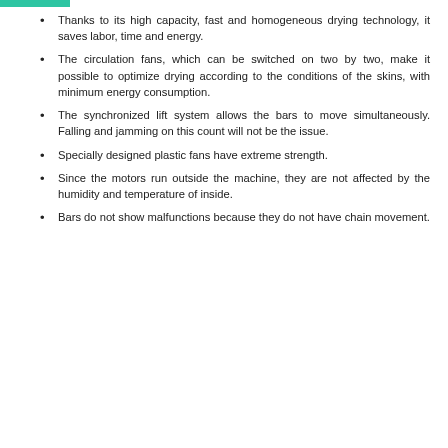Thanks to its high capacity, fast and homogeneous drying technology, it saves labor, time and energy.
The circulation fans, which can be switched on two by two, make it possible to optimize drying according to the conditions of the skins, with minimum energy consumption.
The synchronized lift system allows the bars to move simultaneously. Falling and jamming on this count will not be the issue.
Specially designed plastic fans have extreme strength.
Since the motors run outside the machine, they are not affected by the humidity and temperature of inside.
Bars do not show malfunctions because they do not have chain movement.